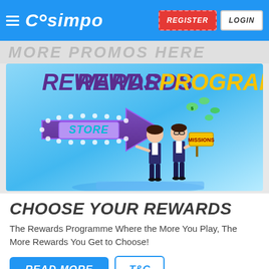Casimpo — REGISTER | LOGIN
MORE PROMOS HERE
[Figure (illustration): Casimpo Rewards Programme banner. Large arrow sign pointing left with 'STORE' text lit up in teal on purple background. Two cartoon business characters standing beside it holding a yellow 'MISSIONS' sign. Money/coins flying in the background. Gradient blue background.]
CHOOSE YOUR REWARDS
The Rewards Programme Where the More You Play, The More Rewards You Get to Choose!
READ MORE | T&C